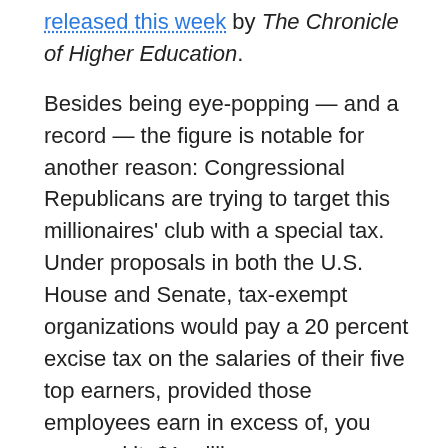released this week by The Chronicle of Higher Education.
Besides being eye-popping — and a record — the figure is notable for another reason: Congressional Republicans are trying to target this millionaires' club with a special tax. Under proposals in both the U.S. House and Senate, tax-exempt organizations would pay a 20 percent excise tax on the salaries of their five top earners, provided those employees earn in excess of, you guessed it, $1 million.
Six of the Chronicle's top 10 list are one-offs: presidents who earned large retirement, severance or deferred-compensation packages. Deferred compensation means money that is put aside each year and is vested, or paid in full, after a certain number of years of service.
For example, Nathan Hatch of Wake Forest University tops the list after receiving more than $4 million in 2015, though this includes the vesting of 10 years' worth of